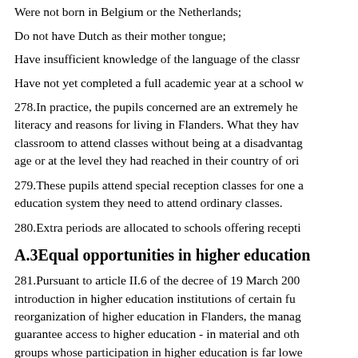Were not born in Belgium or the Netherlands;
Do not have Dutch as their mother tongue;
Have insufficient knowledge of the language of the classr...
Have not yet completed a full academic year at a school w...
278.In practice, the pupils concerned are an extremely he... literacy and reasons for living in Flanders. What they hav... classroom to attend classes without being at a disadvantag... age or at the level they had reached in their country of ori...
279.These pupils attend special reception classes for one a... education system they need to attend ordinary classes.
280.Extra periods are allocated to schools offering recepti...
A.3Equal opportunities in higher education
281.Pursuant to article II.6 of the decree of 19 March 200... introduction in higher education institutions of certain fu... reorganization of higher education in Flanders, the manag... guarantee access to higher education - in material and oth... groups whose participation in higher education is far lowe...